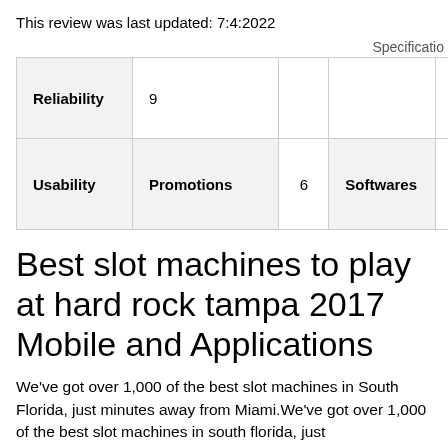This review was last updated: 7:4:2022
Specificatio
| Reliability | 9 |  |  |  |  |
| Usability | Promotions | 6 | Softwares | 2 | Slots |
Best slot machines to play at hard rock tampa 2017 Mobile and Applications
We've got over 1,000 of the best slot machines in South Florida, just minutes away from Miami.We've got over 1,000 of the best slot machines in south florida, just minutes.Experience over 5,000 Slots fit for rock stars.My